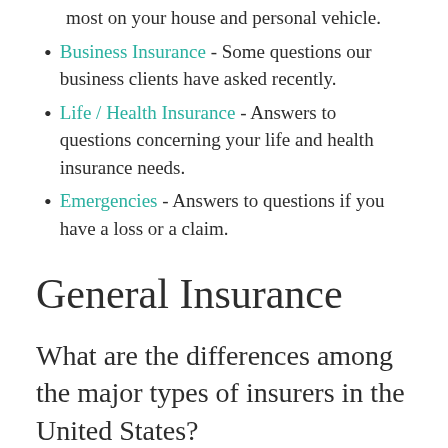most on your house and personal vehicle.
Business Insurance - Some questions our business clients have asked recently.
Life / Health Insurance - Answers to questions concerning your life and health insurance needs.
Emergencies - Answers to questions if you have a loss or a claim.
General Insurance
What are the differences among the major types of insurers in the United States?